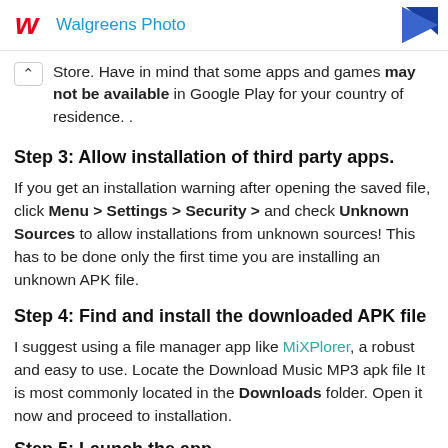Walgreens Photo
Store. Have in mind that some apps and games may not be available in Google Play for your country of residence. .
Step 3: Allow installation of third party apps.
If you get an installation warning after opening the saved file, click Menu > Settings > Security > and check Unknown Sources to allow installations from unknown sources! This has to be done only the first time you are installing an unknown APK file.
Step 4: Find and install the downloaded APK file
I suggest using a file manager app like MiXPlorer, a robust and easy to use. Locate the Download Music MP3 apk file It is most commonly located in the Downloads folder. Open it now and proceed to installation.
Step 5: Launch the app